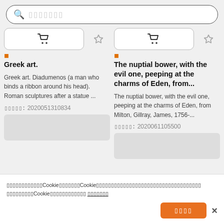Search bar with placeholder text (Japanese characters)
Greek art.
Greek art. Diadumenos (a man who binds a ribbon around his head). Roman sculptures after a statue ...
ID: 2020051310834
The nuptial bower, with the evil one, peeping at the charms of Eden, from...
The nuptial bower, with the evil one, peeping at the charms of Eden, from Milton, Gillray, James, 1756-...
ID: 2020061105500
Cookie banner text in Japanese mentioning Cookie policy
Accept cookies button